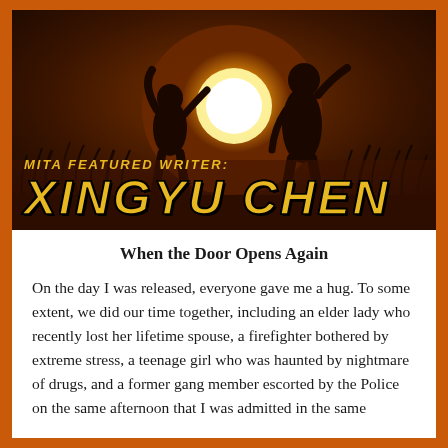[Figure (photo): Dark atmospheric photo of two silhouetted figures against a large glowing golden sun/orb in a field at dusk. The image has warm orange and dark brown tones with silhouetted grass/plants around the figures.]
MITA FEATURED WRITER: XINGYU CHEN
When the Door Opens Again
On the day I was released, everyone gave me a hug. To some extent, we did our time together, including an elder lady who recently lost her lifetime spouse, a firefighter bothered by extreme stress, a teenage girl who was haunted by nightmare of drugs, and a former gang member escorted by the Police on the same afternoon that I was admitted in the same